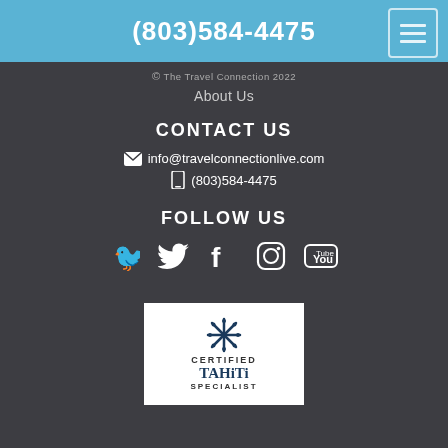(803)584-4475
© The Travel Connection 2022
About Us
CONTACT US
✉ info@travelconnectionlive.com
☎ (803)584-4475
FOLLOW US
[Figure (other): Social media icons: Twitter, Facebook, Instagram, YouTube]
[Figure (logo): Certified Tahiti Specialist logo with snowflake/star symbol]